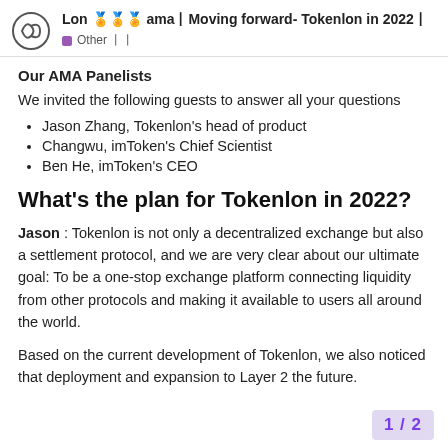Lon 🏅🏅🏅 ama丨Moving forward- Tokenlon in 2022丨 Other 丨丨
Our AMA Panelists
We invited the following guests to answer all your questions
Jason Zhang, Tokenlon's head of product
Changwu, imToken's Chief Scientist
Ben He, imToken's CEO
What's the plan for Tokenlon in 2022?
Jason : Tokenlon is not only a decentralized exchange but also a settlement protocol, and we are very clear about our ultimate goal: To be a one-stop exchange platform connecting liquidity from other protocols and making it available to users all around the world.
Based on the current development of Tokenlon, we also noticed that deployment and expansion to Layer 2 the future.
1 / 2